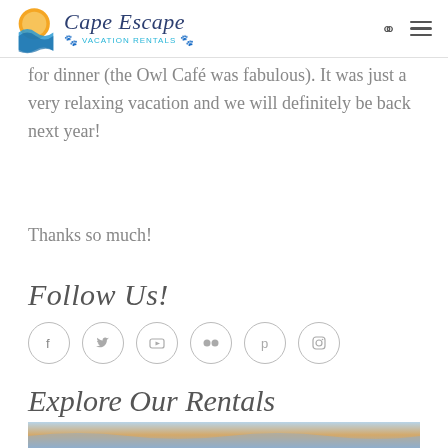Cape Escape Vacation Rentals
for dinner (the Owl Café was fabulous). It was just a very relaxing vacation and we will definitely be back next year!
Thanks so much!
Follow Us!
[Figure (other): Social media icon buttons: Facebook, Twitter, YouTube, Flickr, Pinterest, Instagram]
Explore Our Rentals
[Figure (photo): Partial view of a scenic sky/water photo at bottom of page]